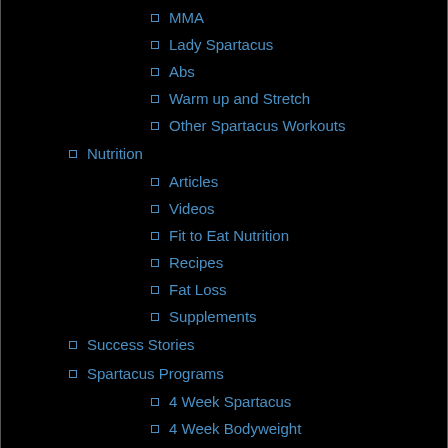MMA
Lady Spartacus
Abs
Warm up and Stretch
Other Spartacus Workouts
Nutrition
Articles
Videos
Fit to Eat Nutrition
Recipes
Fat Loss
Supplements
Success Stories
Spartacus Programs
4 Week Spartacus
4 Week Bodyweight
Lady Spartacus
Spartacus 2.0
Ebooks
Spartacus Store
Spartacus Wear